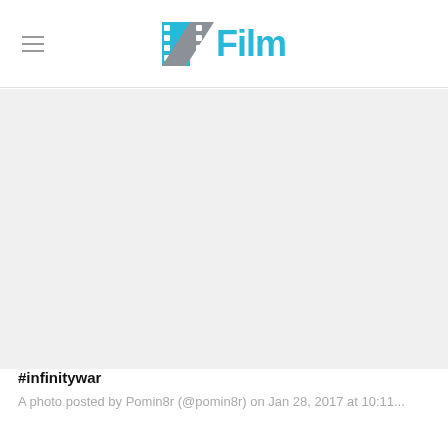/Film
[Figure (photo): Large light gray image placeholder area representing a social media photo post]
#infinitywar
A photo posted by Pomin8r (@pomin8r) on Jan 28, 2017 at 10:11...